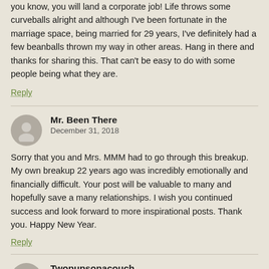you know, you will land a corporate job! Life throws some curveballs alright and although I've been fortunate in the marriage space, being married for 29 years, I've definitely had a few beanballs thrown my way in other areas. Hang in there and thanks for sharing this. That can't be easy to do with some people being what they are.
Reply
Mr. Been There
December 31, 2018
Sorry that you and Mrs. MMM had to go through this breakup. My own breakup 22 years ago was incredibly emotionally and financially difficult. Your post will be valuable to many and hopefully save a many relationships. I wish you continued success and look forward to more inspirational posts. Thank you. Happy New Year.
Reply
Twopupsonacouch
December 31, 2018
I am so sorry to hear about your split. You and the ex-Mrs